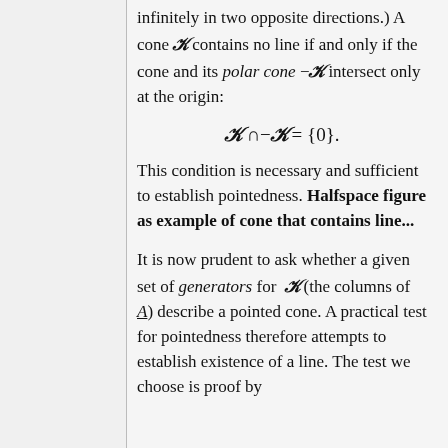infinitely in two opposite directions.) A cone 𝒦 contains no line if and only if the cone and its polar cone −𝒦 intersect only at the origin:
This condition is necessary and sufficient to establish pointedness. Halfspace figure as example of cone that contains line...
It is now prudent to ask whether a given set of generators for 𝒦 (the columns of A) describe a pointed cone. A practical test for pointedness therefore attempts to establish existence of a line. The test we choose is proof by